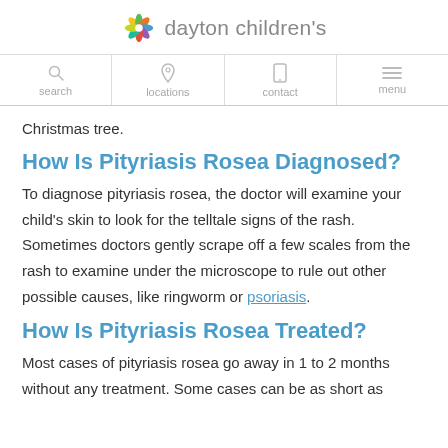dayton children's
Christmas tree.
How Is Pityriasis Rosea Diagnosed?
To diagnose pityriasis rosea, the doctor will examine your child's skin to look for the telltale signs of the rash. Sometimes doctors gently scrape off a few scales from the rash to examine under the microscope to rule out other possible causes, like ringworm or psoriasis.
How Is Pityriasis Rosea Treated?
Most cases of pityriasis rosea go away in 1 to 2 months without any treatment. Some cases can be as short as